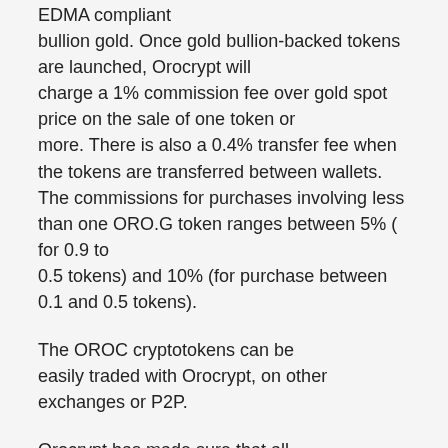EDMA compliant bullion gold. Once gold bullion-backed tokens are launched, Orocrypt will charge a 1% commission fee over gold spot price on the sale of one token or more. There is also a 0.4% transfer fee when the tokens are transferred between wallets. The commissions for purchases involving less than one ORO.G token ranges between 5% ( for 0.9 to 0.5 tokens) and 10% (for purchase between 0.1 and 0.5 tokens).
The OROC cryptotokens can be easily traded with Orocrypt, on other exchanges or P2P.
Orocrypt has made sure that all aspects of the token issuance, including holding client funds, issuing digital tokens, procuring and storing gold are open and auditable. To reduce the risks of adverse legislation in any one jurisdiction, Orocrypt will have the bullion stored in secured vaults around the globe. Swiss